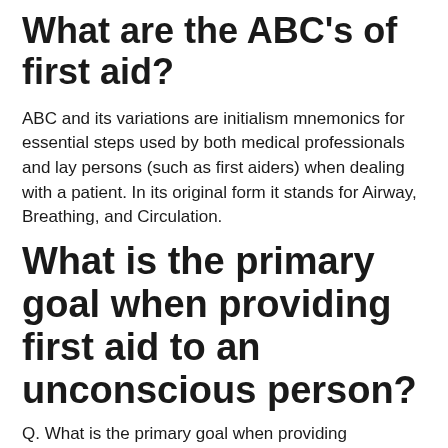What are the ABC's of first aid?
ABC and its variations are initialism mnemonics for essential steps used by both medical professionals and lay persons (such as first aiders) when dealing with a patient. In its original form it stands for Airway, Breathing, and Circulation.
What is the primary goal when providing first aid to an unconscious person?
Q. What is the primary goal when providing